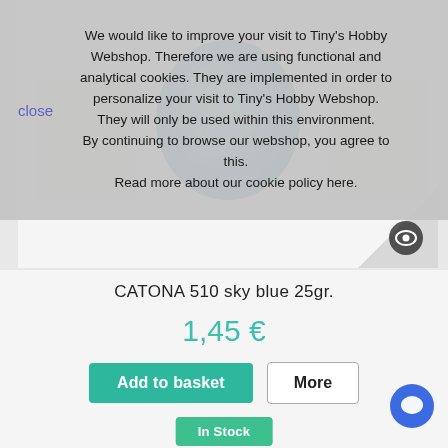[Figure (photo): Blue yarn ball (sky blue color) displayed in the center, with light pink/beige color swatches on left and right sides, on a light grey product page background. An eye icon is in the bottom-right corner.]
We would like to improve your visit to Tiny's Hobby Webshop. Therefore we are using functional and analytical cookies. They are implemented in order to personalize your visit to Tiny's Hobby Webshop. They will only be used within this environment.
By continuing to browse our webshop, you agree to this.
Read more about our cookie policy here.
close
CATONA 510 sky blue 25gr.
1,45 €
Add to basket
More
In Stock